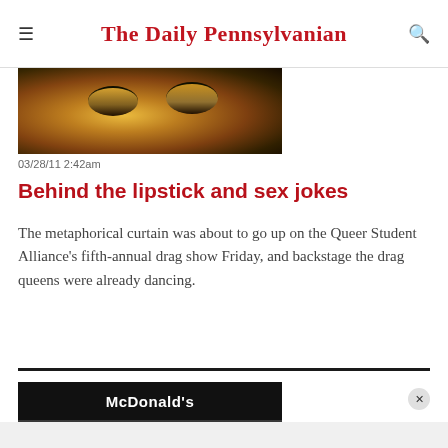The Daily Pennsylvanian
[Figure (photo): Close-up photo of a person's eyes with warm golden/yellow tones, likely in theatrical drag makeup]
03/28/11 2:42am
Behind the lipstick and sex jokes
The metaphorical curtain was about to go up on the Queer Student Alliance's fifth-annual drag show Friday, and backstage the drag queens were already dancing.
[Figure (photo): Black and white photo of the interior of a McDonald's restaurant, with people sitting at tables eating and a McDonald's sign visible]